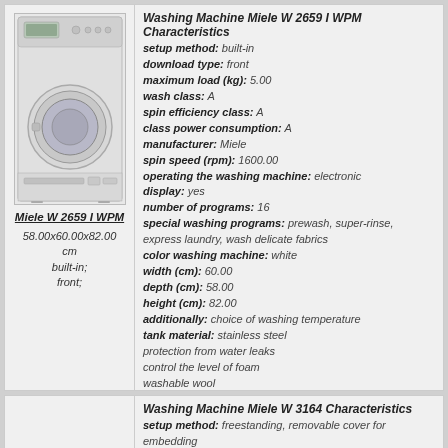[Figure (photo): Photo of Miele W 2659 I WPM washing machine, white, built-in, front-loading]
Miele W 2659 I WPM
58.00x60.00x82.00 cm
built-in;
front;
Washing Machine Miele W 2659 I WPM Characteristics
setup method: built-in
download type: front
maximum load (kg): 5.00
wash class: A
spin efficiency class: A
class power consumption: A
manufacturer: Miele
spin speed (rpm): 1600.00
operating the washing machine: electronic
display: yes
number of programs: 16
special washing programs: prewash, super-rinse, express laundry, wash delicate fabrics
color washing machine: white
width (cm): 60.00
depth (cm): 58.00
height (cm): 82.00
additionally: choice of washing temperature
tank material: stainless steel
protection from water leaks
control the level of foam
washable wool
ability to select the spin speed
timer
control imbalance
more information
Washing Machine Miele W 3164 Characteristics
setup method: freestanding, removable cover for embedding